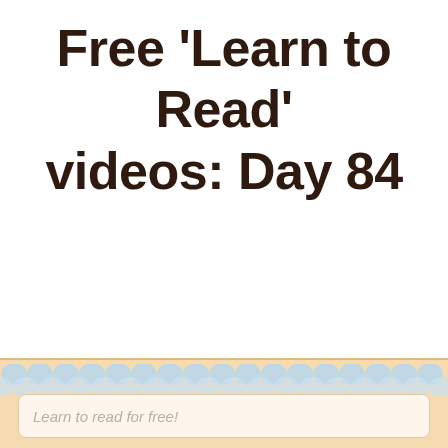Free 'Learn to Read' videos: Day 84
[Figure (illustration): Decorative bottom banner with scalloped blue border pattern and a beige/cream inner label area containing italic text 'Learn to read for free!' on a light peach background.]
Learn to read for free!